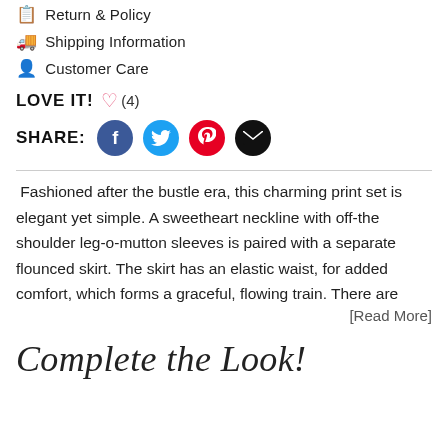Return & Policy
Shipping Information
Customer Care
LOVE IT! ♡ (4)
SHARE: [Facebook] [Twitter] [Pinterest] [Email]
Fashioned after the bustle era, this charming print set is elegant yet simple. A sweetheart neckline with off-the shoulder leg-o-mutton sleeves is paired with a separate flounced skirt. The skirt has an elastic waist, for added comfort, which forms a graceful, flowing train. There are [Read More]
Complete the Look!